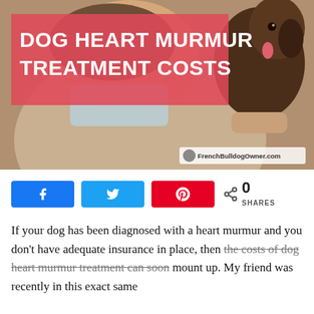[Figure (photo): Photo of a veterinarian or vet technician wearing a face mask around their neck, holding a small brown puppy. Red salmon-colored banner overlaid with bold white text reading 'DOG HEART MURMUR TREATMENT COSTS'. Watermark reads 'FrenchBulldogOwner.com'.]
[Figure (infographic): Social share bar with three buttons: blue Facebook button with thumbs-up icon, blue Twitter button with bird icon, red Pinterest button with P icon, and a share count showing 0 SHARES.]
If your dog has been diagnosed with a heart murmur and you don't have adequate insurance in place, then the costs of dog heart murmur treatment can soon mount up. My friend was recently in this exact same